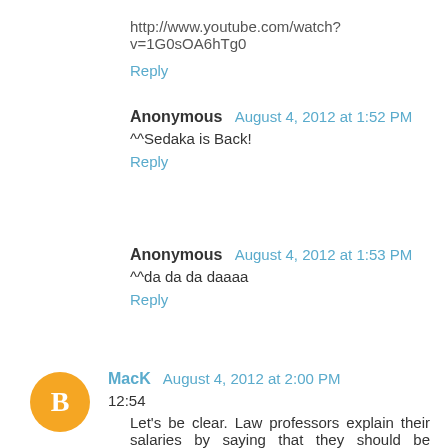http://www.youtube.com/watch?v=1G0sOA6hTg0
Reply
Anonymous  August 4, 2012 at 1:52 PM
^^Sedaka is Back!
Reply
Anonymous  August 4, 2012 at 1:53 PM
^^da da da daaaa
Reply
MacK  August 4, 2012 at 2:00 PM
12:54
Let's be clear. Law professors explain their salaries by saying that they should be compared to what a BigLaw